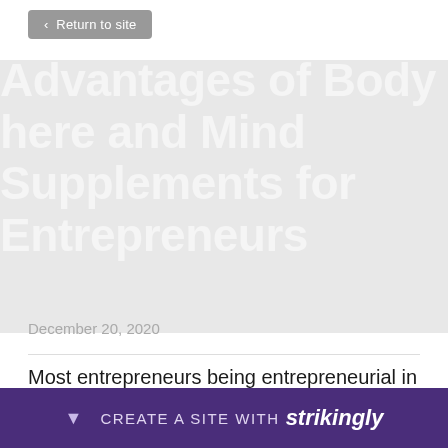< Return to site
Advantages of Body here and Mind Supplements for Entrepreneurs
December 20, 2020
Most entrepreneurs being entrepreneurial in the now! world today. Due to this, it makes them to treat the entrepreneurship with utmost love and they are therefore read more about deep... tion
[Figure (screenshot): Strikingly website builder promotional bar at bottom: dark purple bar with arrow down icon and text 'CREATE A SITE WITH strikingly']